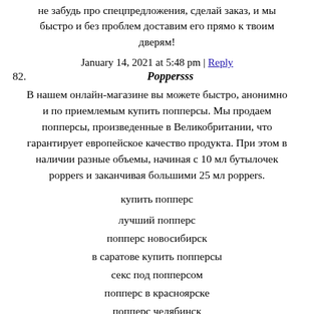не забудь про спецпредложения, сделай заказ, и мы быстро и без проблем доставим его прямо к твоим дверям!
January 14, 2021 at 5:48 pm | Reply
82.   Poppersss
В нашем онлайн-магазине вы можете быстро, анонимно и по приемлемым купить попперсы. Мы продаем попперсы, произведенные в Великобритании, что гарантирует европейское качество продукта. При этом в наличии разные объемы, начиная с 10 мл бутылочек poppers и заканчивая большими 25 мл poppers.
купить попперс
лучший попперс
попперс новосибирск
в саратове купить попперсы
секс под попперсом
попперс в красноярске
попперс челябинск
круглосуточно купить попперсы
попперс гей
продажа попперсов
секс попперс видео